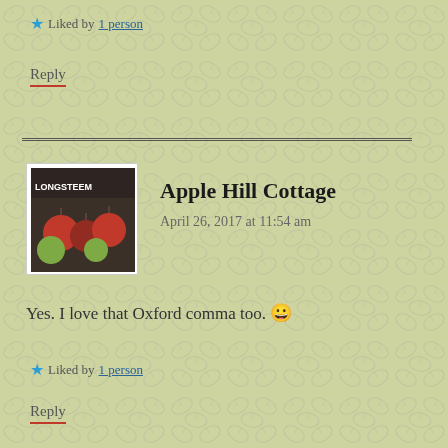★ Liked by 1 person
Reply
Apple Hill Cottage
April 26, 2017 at 11:54 am
[Figure (photo): Avatar image showing apples in a box, thumbnail photo]
Yes. I love that Oxford comma too. 😀
★ Liked by 1 person
Reply